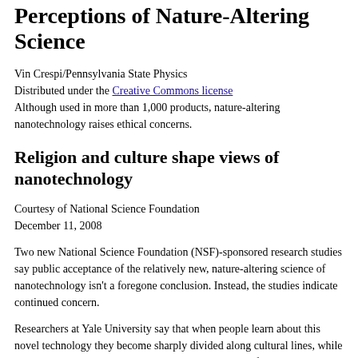Perceptions of Nature-Altering Science
Vin Crespi/Pennsylvania State Physics
Distributed under the Creative Commons license
Although used in more than 1,000 products, nature-altering nanotechnology raises ethical concerns.
Religion and culture shape views of nanotechnology
Courtesy of National Science Foundation
December 11, 2008
Two new National Science Foundation (NSF)-sponsored research studies say public acceptance of the relatively new, nature-altering science of nanotechnology isn't a foregone conclusion. Instead, the studies indicate continued concern.
Researchers at Yale University say that when people learn about this novel technology they become sharply divided along cultural lines, while a separate study led by researchers at the University of Wisconsin-Madison and Arizona State University says